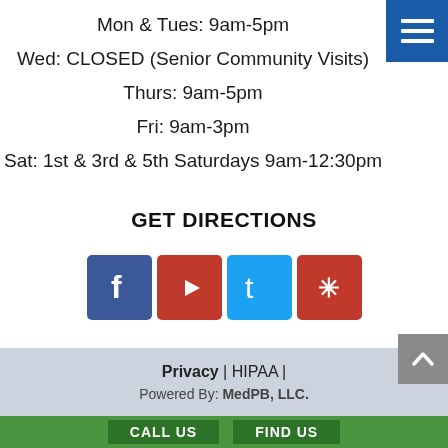Mon & Tues: 9am-5pm
Wed: CLOSED (Senior Community Visits)
Thurs: 9am-5pm
Fri: 9am-3pm
Sat: 1st & 3rd & 5th Saturdays 9am-12:30pm
GET DIRECTIONS
[Figure (logo): Social media icons: Facebook, YouTube, Twitter, Yelp]
Privacy | HIPAA |
Powered By: MedPB, LLC.
CALL US
FIND US